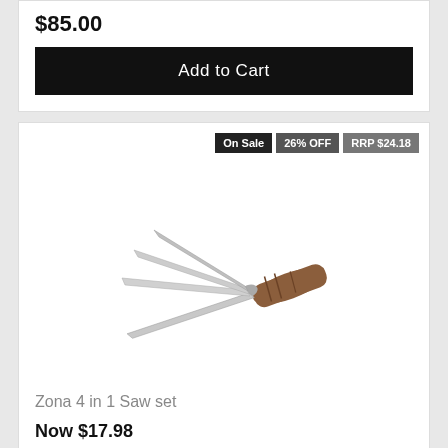$85.00
Add to Cart
On Sale  26% OFF  RRP $24.18
[Figure (photo): Zona 4 in 1 Saw set product photo showing multiple saw blades fanned out with a wooden handle]
Zona 4 in 1 Saw set
Now $17.98